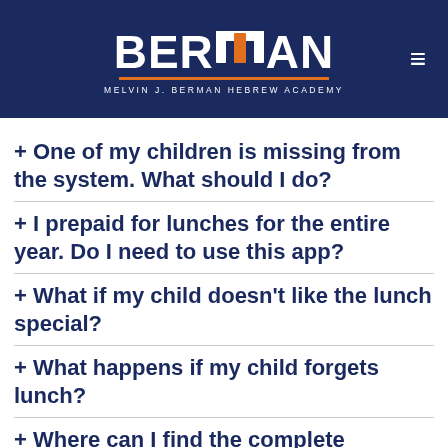BERMAN MELVIN J. BERMAN HEBREW ACADEMY
+ One of my children is missing from the system. What should I do?
+ I prepaid for lunches for the entire year. Do I need to use this app?
+ What if my child doesn't like the lunch special?
+ What happens if my child forgets lunch?
+ Where can I find the complete